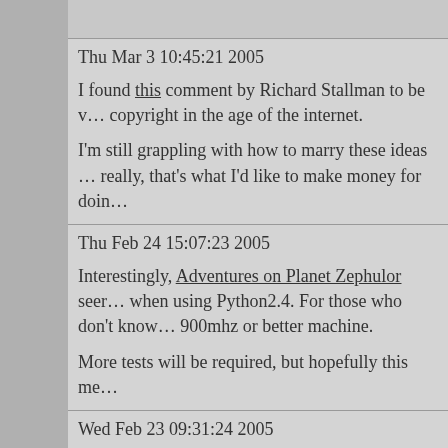Thu Mar 3 10:45:21 2005
I found this comment by Richard Stallman to be w... copyright in the age of the internet.

I'm still grappling with how to marry these ideas ... really, that's what I'd like to make money for doin...
Thu Feb 24 15:07:23 2005
Interestingly, Adventures on Planet Zephulor see... when using Python2.4. For those who don't know... 900mhz or better machine.

More tests will be required, but hopefully this me...
Wed Feb 23 09:31:24 2005
Hah, it's not Monday anymore.

The weekend flew by, and it wasn't until Tuesday... the weekend but didn't.